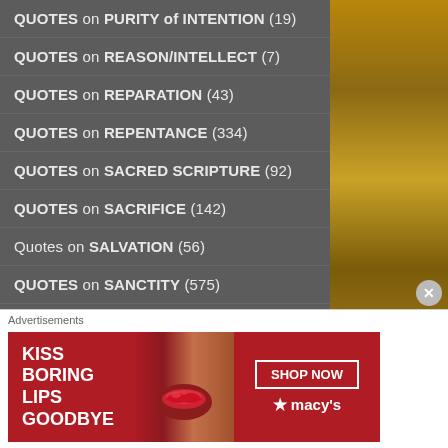QUOTES on PURITY of INTENTION (19)
QUOTES on REASON/INTELLECT (7)
QUOTES on REPARATION (43)
QUOTES on REPENTANCE (334)
QUOTES on SACRED SCRIPTURE (92)
QUOTES on SACRIFICE (142)
Quotes on SALVATION (56)
QUOTES on SANCTITY (575)
QUOTES on SCANDAL (15)
QUOTES on SELF-DENIAL (171)
QUOTES on SILENCE (...)
Advertisements
[Figure (infographic): Macy's advertisement banner: red background with white text 'KISS BORING LIPS GOODBYE', woman's face with red lips, SHOP NOW button, Macy's star logo]